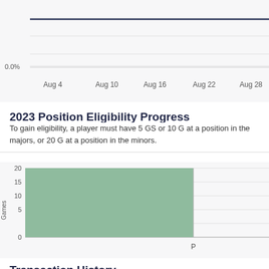[Figure (line-chart): Rate over time (partial)]
2023 Position Eligibility Progress
To gain eligibility, a player must have 5 GS or 10 G at a position in the majors, or 20 G at a position in the minors.
[Figure (bar-chart): Position Eligibility]
Transaction History
| TRANSACTION |
| --- |